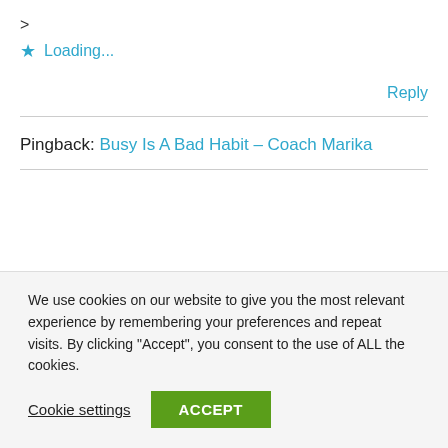>
Loading...
Reply
Pingback: Busy Is A Bad Habit – Coach Marika
We use cookies on our website to give you the most relevant experience by remembering your preferences and repeat visits. By clicking "Accept", you consent to the use of ALL the cookies.
Cookie settings
ACCEPT